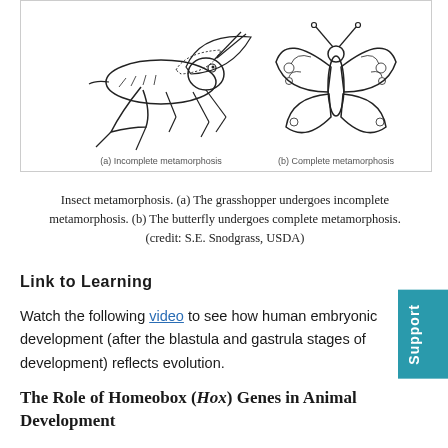[Figure (illustration): Two insect illustrations side by side. Left: (a) Incomplete metamorphosis showing a grasshopper. Right: (b) Complete metamorphosis showing a butterfly.]
Insect metamorphosis. (a) The grasshopper undergoes incomplete metamorphosis. (b) The butterfly undergoes complete metamorphosis. (credit: S.E. Snodgrass, USDA)
Link to Learning
Watch the following video to see how human embryonic development (after the blastula and gastrula stages of development) reflects evolution.
The Role of Homeobox (Hox) Genes in Animal Development
Since the early nineteenth century, scientists have observed that many animals, from the very simple to the complex, shared similar embryonic